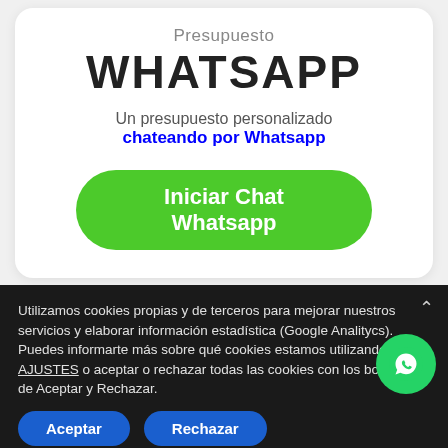Presupuesto
WHATSAPP
Un presupuesto personalizado chateando por Whatsapp
Iniciar Chat Whatsapp
Utilizamos cookies propias y de terceros para mejorar nuestros servicios y elaborar información estadística (Google Analitycs). Puedes informarte más sobre qué cookies estamos utilizando en los AJUSTES o aceptar o rechazar todas las cookies con los botones de Aceptar y Rechazar.
Aceptar
Rechazar